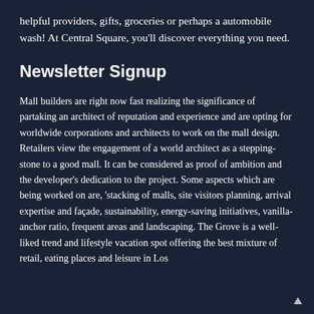helpful providers, gifts, groceries or perhaps a automobile wash! At Central Square, you'll discover everything you need.
Newsletter Signup
Mall builders are right now fast realizing the significance of partaking an architect of reputation and experience and are opting for worldwide corporations and architects to work on the mall design. Retailers view the engagement of a world architect as a stepping-stone to a good mall. It can be considered as proof of ambition and the developer's dedication to the project. Some aspects which are being worked on are, 'stacking of malls, site visitors planning, arrival expertise and façade, sustainability, energy-saving initiatives, vanilla-anchor ratio, frequent areas and landscaping. The Grove is a well-liked trend and lifestyle vacation spot offering the best mixture of retail, eating places and leisure in Los